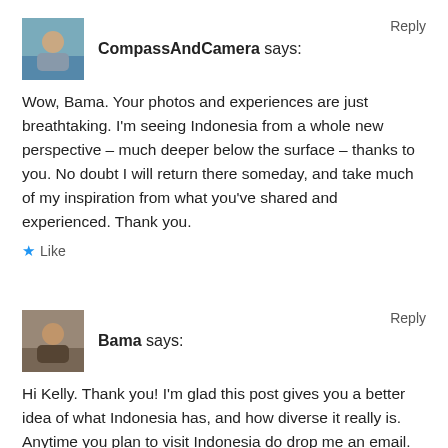[Figure (photo): Avatar photo of CompassAndCamera user, outdoor scene]
CompassAndCamera says:
Reply
Wow, Bama. Your photos and experiences are just breathtaking. I'm seeing Indonesia from a whole new perspective – much deeper below the surface – thanks to you. No doubt I will return there someday, and take much of my inspiration from what you've shared and experienced. Thank you.
Like
[Figure (photo): Avatar photo of Bama user]
Bama says:
Reply
Hi Kelly. Thank you! I'm glad this post gives you a better idea of what Indonesia has, and how diverse it really is. Anytime you plan to visit Indonesia do drop me an email.
Like